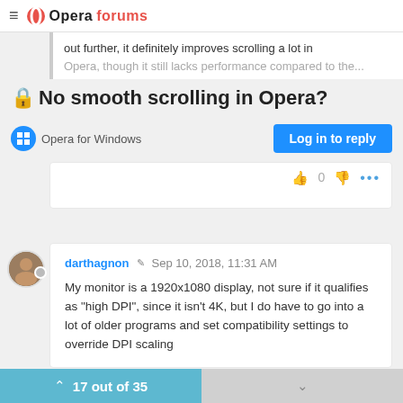Opera forums
out further, it definitely improves scrolling a lot in Opera, though it still lacks performance compared to the...
No smooth scrolling in Opera?
Opera for Windows
Log in to reply
darthagnon  Sep 10, 2018, 11:31 AM
My monitor is a 1920x1080 display, not sure if it qualifies as "high DPI", since it isn't 4K, but I do have to go into a lot of older programs and set compatibility settings to override DPI scaling
17 out of 35